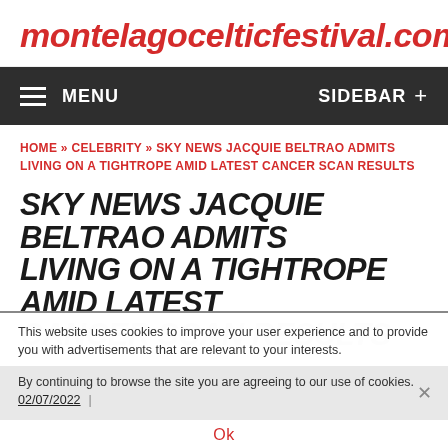montelagocelticfestival.com
MENU   SIDEBAR +
HOME » CELEBRITY » SKY NEWS JACQUIE BELTRAO ADMITS LIVING ON A TIGHTROPE AMID LATEST CANCER SCAN RESULTS
SKY NEWS JACQUIE BELTRAO ADMITS LIVING ON A TIGHTROPE AMID LATEST CANCER SCAN RESULTS
This website uses cookies to improve your user experience and to provide you with advertisements that are relevant to your interests.
By continuing to browse the site you are agreeing to our use of cookies.
02/07/2022  |
Ok